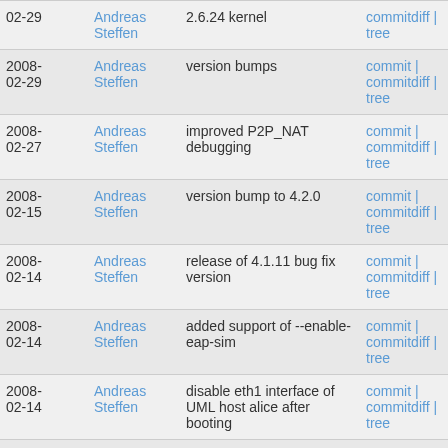| Date | Author | Message | Links |
| --- | --- | --- | --- |
| 2008-02-29 | Andreas Steffen | 2.6.24 kernel | commitdiff | tree |
| 2008-02-29 | Andreas Steffen | version bumps | commit | commitdiff | tree |
| 2008-02-27 | Andreas Steffen | improved P2P_NAT debugging | commit | commitdiff | tree |
| 2008-02-15 | Andreas Steffen | version bump to 4.2.0 | commit | commitdiff | tree |
| 2008-02-14 | Andreas Steffen | release of 4.1.11 bug fix version | commit | commitdiff | tree |
| 2008-02-14 | Andreas Steffen | added support of --enable-eap-sim | commit | commitdiff | tree |
| 2008-02-14 | Andreas Steffen | disable eth1 interface of UML host alice after booting | commit | commitdiff | tree |
| 2008- | Andreas | added sleep 1 to ikev1/xauth-rsa- | commit | |